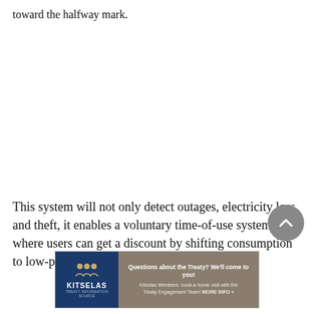toward the halfway mark.
This system will not only detect outages, electricity loss and theft, it enables a voluntary time-of-use system where users can get a discount by shifting consumption to low-peak
[Figure (other): Kitselas Nation advertisement banner: dark blue left panel with Kitselas logo and name, tan/brown right panel with text 'Questions about the Treaty? We'll come to you! Kitselas Members: book a home visit with the Treaty Engagement Team! MORE INFO »']